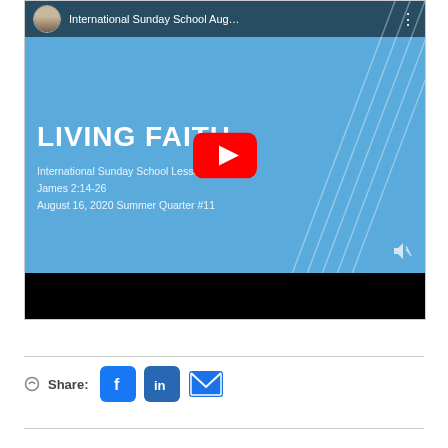[Figure (screenshot): YouTube video thumbnail showing a blue slide with text 'LIVING FAITH', subtitles 'International Sunday School Lesson', 'James 2:14-26', 'August 16, 2020 Summer Quarter #11', with a YouTube play button in the center and a video player top bar showing 'International Sunday School Aug...' with a speaker avatar.]
Share: